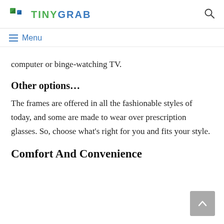TINYGRAB
Menu
computer or binge-watching TV.
Other options…
The frames are offered in all the fashionable styles of today, and some are made to wear over prescription glasses. So, choose what's right for you and fits your style.
Comfort And Convenience